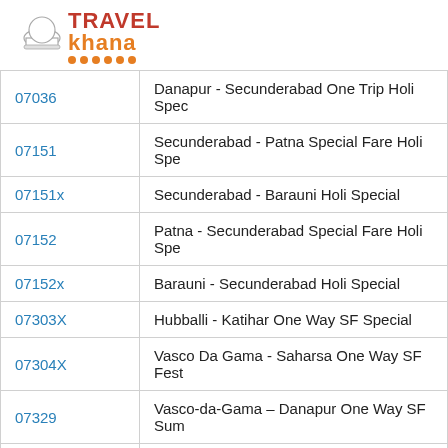[Figure (logo): TravelKhana logo with chef hat icon, red TRAVEL text, orange khana text, and orange dots underline]
| Code | Train Name |
| --- | --- |
| 07036 | Danapur - Secunderabad One Trip Holi Spec |
| 07151 | Secunderabad - Patna Special Fare Holi Spe |
| 07151x | Secunderabad - Barauni Holi Special |
| 07152 | Patna - Secunderabad Special Fare Holi Spe |
| 07152x | Barauni - Secunderabad Holi Special |
| 07303X | Hubballi - Katihar One Way SF Special |
| 07304X | Vasco Da Gama - Saharsa One Way SF Fest |
| 07329 | Vasco-da-Gama – Danapur One Way SF Sum |
| 07609 | Patna - Purna Special Fare Special |
| 07610 | Purna - Patna Special Fare Special |